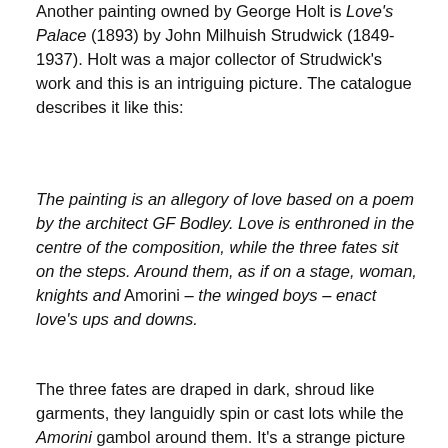Another painting owned by George Holt is Love's Palace (1893) by John Milhuish Strudwick (1849-1937). Holt was a major collector of Strudwick's work and this is an intriguing picture. The catalogue describes it like this:
The painting is an allegory of love based on a poem by the architect GF Bodley. Love is enthroned in the centre of the composition, while the three fates sit on the steps. Around them, as if on a stage, woman, knights and Amorini – the winged boys – enact love's ups and downs.
The three fates are draped in dark, shroud like garments, they languidly spin or cast lots while the Amorini gambol around them. It's a strange picture but what particularly